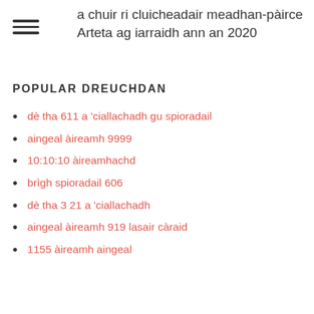a chuir ri cluicheadair meadhan-pàirce Arteta ag iarraidh ann an 2020
POPULAR DREUCHDAN
dè tha 611 a 'ciallachadh gu spioradail
aingeal àireamh 9999
10:10:10 àireamhachd
brìgh spioradail 606
dè tha 3 21 a 'ciallachadh
aingeal àireamh 919 lasair càraid
1155 àireamh aingeal